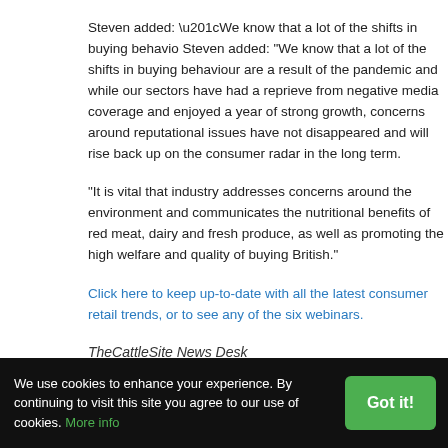Steven added: “We know that a lot of the shifts in buying behaviour are a result of the pandemic and while our sectors have had a reprieve from negative media coverage and enjoyed a year of strong growth, concerns around reputational issues have not disappeared and will rise back up on the consumer radar in the long term.
“It is vital that industry addresses concerns around the environment and communicates the nutritional benefits of red meat, dairy and fresh produce, as well as promoting the high welfare and quality of buying British.”
Click here to keep up-to-date with all the latest consumer retail trends, or to see any of the six webinars.
TheCattleSite News Desk
Economics, Marketing, General, Training or conference, Research
We use cookies to enhance your experience. By continuing to visit this site you agree to our use of cookies. More info